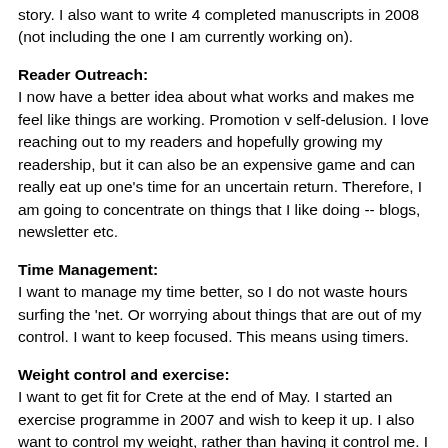story. I also want to write 4 completed manuscripts in 2008 (not including the one I am currently working on).
Reader Outreach:
I now have a better idea about what works and makes me feel like things are working. Promotion v self-delusion. I love reaching out to my readers and hopefully growing my readership, but it can also be an expensive game and can really eat up one's time for an uncertain return. Therefore, I am going to concentrate on things that I like doing -- blogs, newsletter etc.
Time Management:
I want to manage my time better, so I do not waste hours surfing the 'net. Or worrying about things that are out of my control. I want to keep focused. This means using timers.
Weight control and exercise:
I want to get fit for Crete at the end of May. I started an exercise programme in 2007 and wish to keep it up. I also want to control my weight, rather than having it control me. I suspect that using a timer etc will have benefits here.